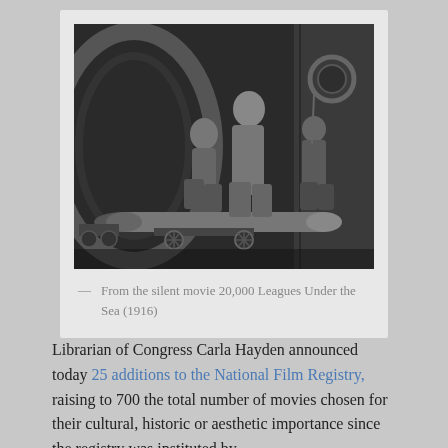[Figure (photo): Black and white still from the silent movie 20,000 Leagues Under the Sea (1916), showing three people in early 20th century clothing standing near a large cylindrical torpedo or submarine component inside what appears to be a vessel or industrial setting.]
— From the silent movie 20,000 Leagues Under the Sea (1916)
Librarian of Congress Carla Hayden announced today 25 additions to the National Film Registry, raising to 700 the total number of movies chosen for their cultural, historic or aesthetic importance since the registry was instituted by